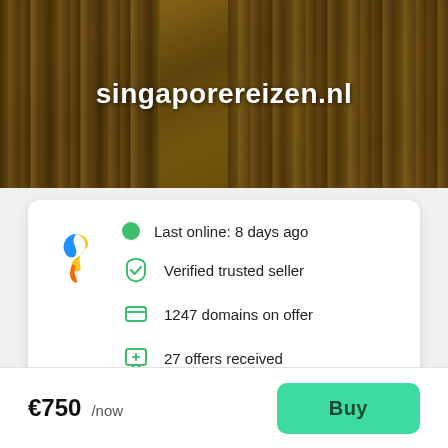[Figure (photo): Library/bookshelf background image with text overlay showing domain name 'singaporereizen.nl' in white bold text]
singaporereizen.nl
Last online: 8 days ago
Verified trusted seller
1247 domains on offer
27 offers received
€750 /now
Buy